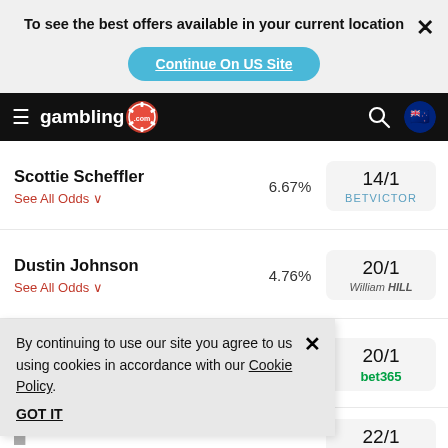To see the best offers available in your current location
Continue On US Site
[Figure (screenshot): Gambling.com navigation bar with hamburger menu, logo, search icon, and New Zealand flag]
Scottie Scheffler
See All Odds
6.67%
14/1
BETVICTOR
Dustin Johnson
See All Odds
4.76%
20/1
William HILL
20/1
bet365
22/1
BETVICTOR
By continuing to use our site you agree to us using cookies in accordance with our Cookie Policy.
GOT IT